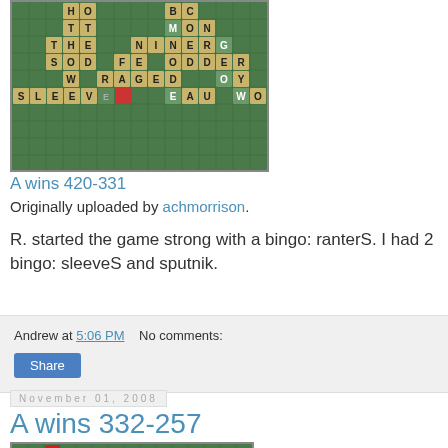[Figure (photo): Scrabble board photo showing words including NINER, SOD, FEEDER, RAGED, SLEEVE, EAU, WO, MON, THE, OY, and others on a green board]
A wins 420-331
Originally uploaded by achmorrison.
R. started the game strong with a bingo: ranterS. I had 2 bingo: sleeveS and sputnik.
Andrew at 5:06 PM   No comments:
Share
November 01, 2008
A wins 332-257
[Figure (photo): Scrabble board photo showing words including ZOMP, AXIAL and others on a green board with a whisk visible]